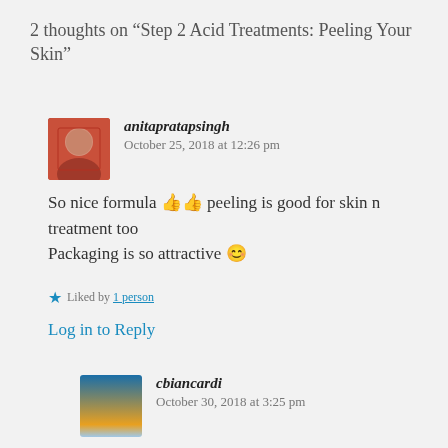2 thoughts on “Step 2 Acid Treatments: Peeling Your Skin”
anitapratapsingh   October 25, 2018 at 12:26 pm
So nice formula 👍👍 peeling is good for skin n treatment too
Packaging is so attractive 😊
Liked by 1 person
Log in to Reply
cbiancardi   October 30, 2018 at 3:25 pm